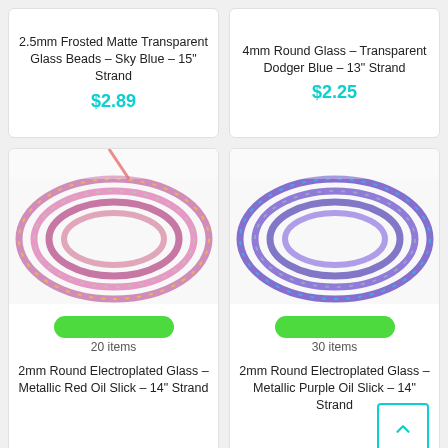2.5mm Frosted Matte Transparent Glass Beads - Sky Blue - 15" Strand
$2.89
4mm Round Glass - Transparent Dodger Blue - 13" Strand
$2.25
[Figure (photo): Close-up photo of strands of 2mm round electroplated glass beads in metallic red oil slick finish]
20 items
2mm Round Electroplated Glass - Metallic Red Oil Slick - 14" Strand
[Figure (photo): Close-up photo of strands of 2mm round electroplated glass beads in metallic purple oil slick finish]
30 items
2mm Round Electroplated Glass - Metallic Purple Oil Slick - 14" Strand